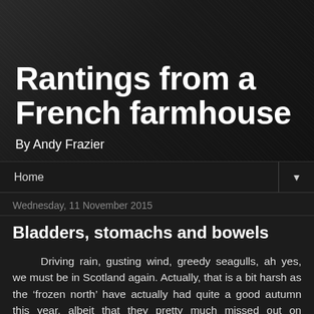Rantings from a French farmhouse
By Andy Frazier
Home
Wednesday, 11 November 2015
Bladders, stomachs and bowels
Driving rain, gusting wind, greedy seagulls, ah yes, we must be in Scotland again. Actually, that is a bit harsh as the ‘frozen north’ have actually had quite a good autumn this year, albeit that they pretty much missed out on summer completely! It has been a few days since we left balmy